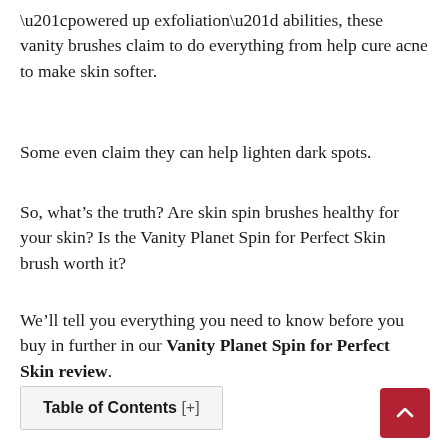“powered up exfoliation” abilities, these vanity brushes claim to do everything from help cure acne to make skin softer.
Some even claim they can help lighten dark spots.
So, what’s the truth? Are skin spin brushes healthy for your skin? Is the Vanity Planet Spin for Perfect Skin brush worth it?
We’ll tell you everything you need to know before you buy in further in our Vanity Planet Spin for Perfect Skin review.
Table of Contents [+]